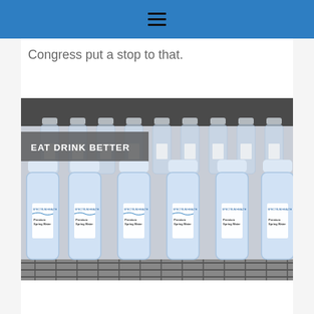≡
Congress put a stop to that.
[Figure (photo): Multiple rows of branded 'Premium Spring Water' bottles by Spectrum Health, arranged on a wire rack shelf, with the label 'EAT DRINK BETTER' overlaid in white text on a semi-transparent grey background in the upper left of the photo.]